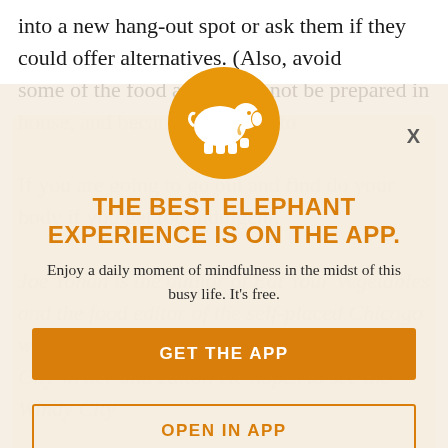into a new hang-out spot or ask them if they could offer alternatives. (Also, avoid
corporate bars because they tend to lack any sort of environment that makes the game fun; some of the food also might not be prepared in house, and because you want to
[Figure (illustration): Orange circle with white elephant silhouette logo]
THE BEST ELEPHANT EXPERIENCE IS ON THE APP.
Enjoy a daily moment of mindfulness in the midst of this busy life. It's free.
GET THE APP
OPEN IN APP